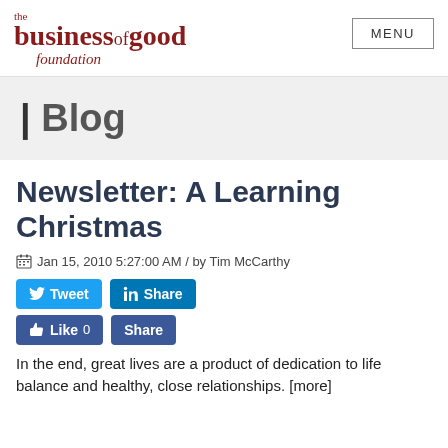[Figure (logo): The Business of Good Foundation logo in dark red/maroon serif font]
MENU
| Blog
Newsletter: A Learning Christmas
Jan 15, 2010 5:27:00 AM / by Tim McCarthy
[Figure (other): Social sharing buttons: Tweet, LinkedIn Share, Like 0, Share]
In the end, great lives are a product of dedication to life balance and healthy, close relationships. [more]